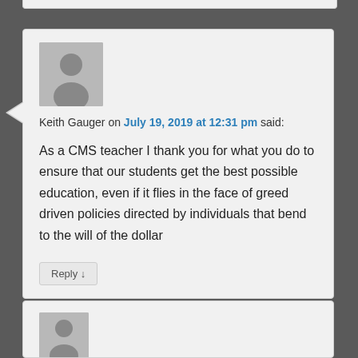[Figure (other): User avatar placeholder — grey silhouette of a person on grey background]
Keith Gauger on July 19, 2019 at 12:31 pm said:
As a CMS teacher I thank you for what you do to ensure that our students get the best possible education, even if it flies in the face of greed driven policies directed by individuals that bend to the will of the dollar
Reply ↓
[Figure (other): Partial user avatar placeholder visible at bottom of page]